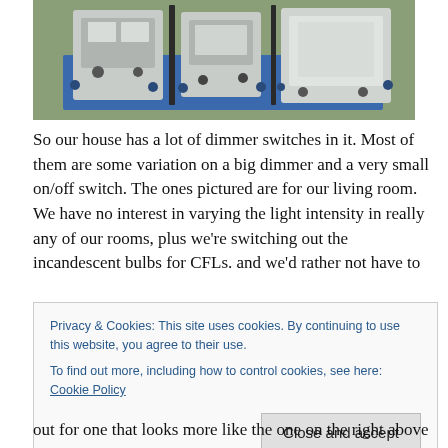[Figure (photo): Close-up photo of electrical dimmer switches mounted on a wall plate with blue painter's tape visible, showing multiple switch units partially installed]
So our house has a lot of dimmer switches in it. Most of them are some variation on a big dimmer and a very small on/off switch. The ones pictured are for our living room. We have no interest in varying the light intensity in really any of our rooms, plus we're switching out the incandescent bulbs for CFLs. and we'd rather not have to
Privacy & Cookies: This site uses cookies. By continuing to use this website, you agree to their use.
To find out more, including how to control cookies, see here: Cookie Policy
Close and accept
out for one that looks more like the one on the right above